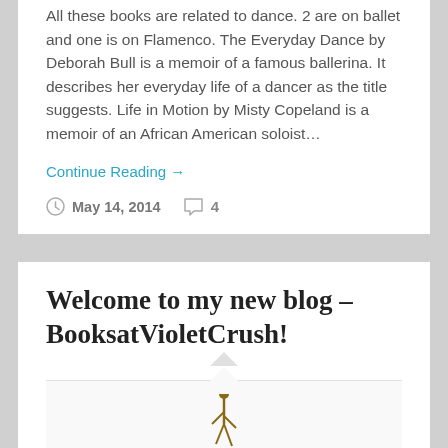All these books are related to dance. 2 are on ballet and one is on Flamenco. The Everyday Dance by Deborah Bull is a memoir of a famous ballerina. It describes her everyday life of a dancer as the title suggests. Life in Motion by Misty Copeland is a memoir of an African American soloist…
Continue Reading →
May 14, 2014  4
Welcome to my new blog – BooksatVioletCrush!
[Figure (illustration): Partial view of a figure/illustration at the bottom of the page, cropped]